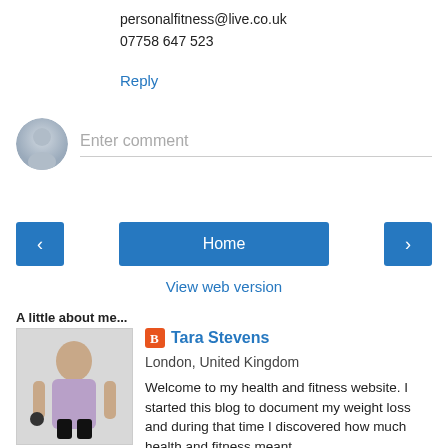personalfitness@live.co.uk
07758 647 523
Reply
[Figure (other): Comment entry box with default avatar icon and placeholder text 'Enter comment']
< Home >
View web version
A little about me...
[Figure (photo): Profile photo of Tara Stevens, a woman in fitness attire holding a dumbbell]
Tara Stevens
London, United Kingdom
Welcome to my health and fitness website. I started this blog to document my weight loss and during that time I discovered how much health and fitness meant to me. I work and live in London with my wonderful boyfriend and equally wonderful (though sometimes sulky and often emotional)